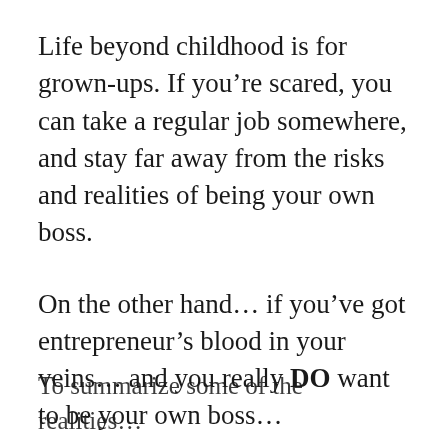Life beyond childhood is for grown-ups. If you’re scared, you can take a regular job somewhere, and stay far away from the risks and realities of being your own boss.
On the other hand… if you’ve got entrepreneur’s blood in your veins… and you really DO want to be your own boss…
… then allow the reality of doing so to wash over you, and embrace it.
To summarize some of the realities…